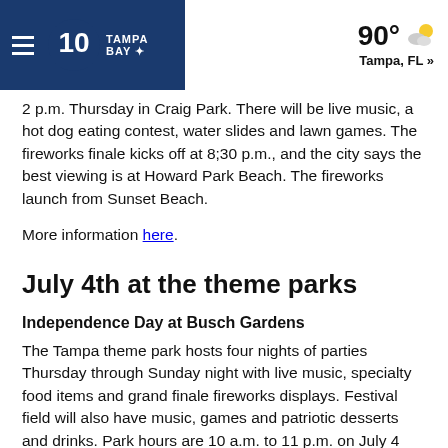10 Tampa Bay | 90° Tampa, FL »
2 p.m. Thursday in Craig Park. There will be live music, a hot dog eating contest, water slides and lawn games. The fireworks finale kicks off at 8;30 p.m., and the city says the best viewing is at Howard Park Beach. The fireworks launch from Sunset Beach.
More information here.
July 4th at the theme parks
Independence Day at Busch Gardens
The Tampa theme park hosts four nights of parties Thursday through Sunday night with live music, specialty food items and grand finale fireworks displays. Festival field will also have music, games and patriotic desserts and drinks. Park hours are 10 a.m. to 11 p.m. on July 4 and 10 a.m. to 10 p.m. during Busch Gardens Summer Nights, which runs through